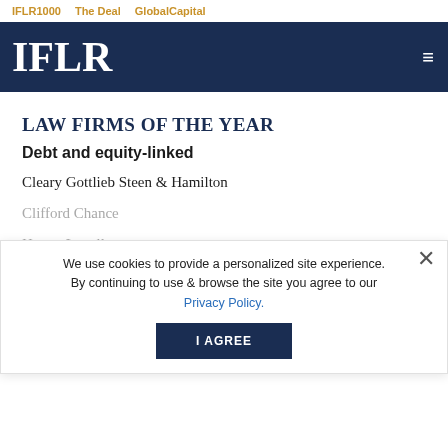IFLR1000   The Deal   GlobalCapital
[Figure (logo): IFLR logo in white on navy background with hamburger menu icon]
LAW FIRMS OF THE YEAR
Debt and equity-linked
Cleary Gottlieb Steen & Hamilton
Clifford Chance
Hogan Lovells
Milbank
Paul Hastings
We use cookies to provide a personalized site experience. By continuing to use & browse the site you agree to our Privacy Policy.